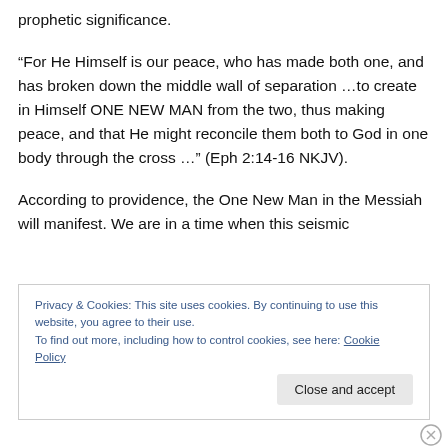prophetic significance.
“For He Himself is our peace, who has made both one, and has broken down the middle wall of separation …to create in Himself ONE NEW MAN from the two, thus making peace, and that He might reconcile them both to God in one body through the cross …” (Eph 2:14-16 NKJV).
According to providence, the One New Man in the Messiah will manifest. We are in a time when this seismic
Privacy & Cookies: This site uses cookies. By continuing to use this website, you agree to their use.
To find out more, including how to control cookies, see here: Cookie Policy
Close and accept